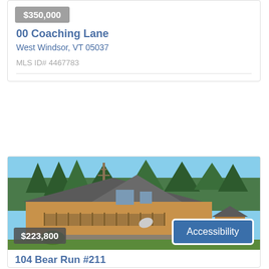$350,000
00 Coaching Lane
West Windsor, VT 05037
MLS ID# 4467783
[Figure (photo): Exterior photo of a wood-sided house with a deck surrounded by trees on a clear day]
$223,800
Accessibility
104 Bear Run #211